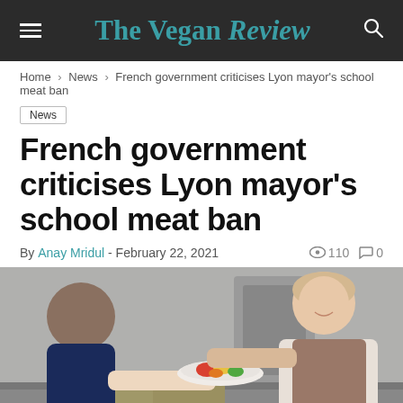The Vegan Review
Home > News > French government criticises Lyon mayor's school meat ban
News
French government criticises Lyon mayor's school meat ban
By Anay Mridul - February 22, 2021  110  0
[Figure (photo): A school lunch server handing a plate of food to a child at a school cafeteria]